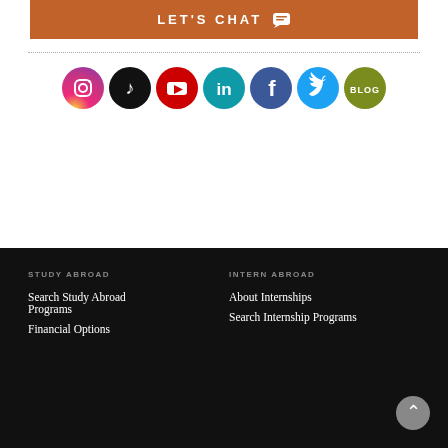LET'S CHAT
[Figure (illustration): Row of seven social media icon circles: Instagram (gradient pink/orange), TikTok (black), YouTube (red), LinkedIn (teal/blue), Facebook (dark blue), Twitter (light blue), Blog (olive green)]
STUDY ABROAD
Search Study Abroad Programs
Financial Options
INTERN ABROAD
About Internships
Search Internship Programs